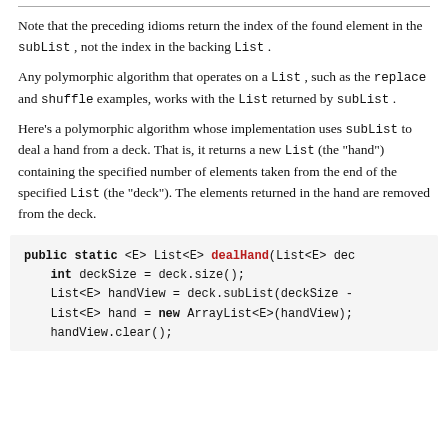Note that the preceding idioms return the index of the found element in the subList , not the index in the backing List .
Any polymorphic algorithm that operates on a List , such as the replace and shuffle examples, works with the List returned by subList .
Here's a polymorphic algorithm whose implementation uses subList to deal a hand from a deck. That is, it returns a new List (the "hand") containing the specified number of elements taken from the end of the specified List (the "deck"). The elements returned in the hand are removed from the deck.
[Figure (screenshot): Code block showing Java method: public static <E> List<E> dealHand(List<E> dec  int deckSize = deck.size();  List<E> handView = deck.subList(deckSize -  List<E> hand = new ArrayList<E>(handView);  handView.clear();]